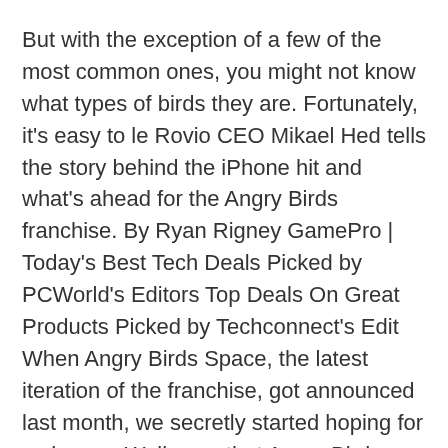But with the exception of a few of the most common ones, you might not know what types of birds they are. Fortunately, it's easy to le Rovio CEO Mikael Hed tells the story behind the iPhone hit and what's ahead for the Angry Birds franchise. By Ryan Rigney GamePro | Today's Best Tech Deals Picked by PCWorld's Editors Top Deals On Great Products Picked by Techconnect's Edit When Angry Birds Space, the latest iteration of the franchise, got announced last month, we secretly started hoping for a change. Well, now that Angry Birds Space is finally here (available on iOS, Android, PC and Mac), and we've played thr Angry Birds in a Box: The game is pretty simple to make. All you need is tape, scissors, and a rubber band.